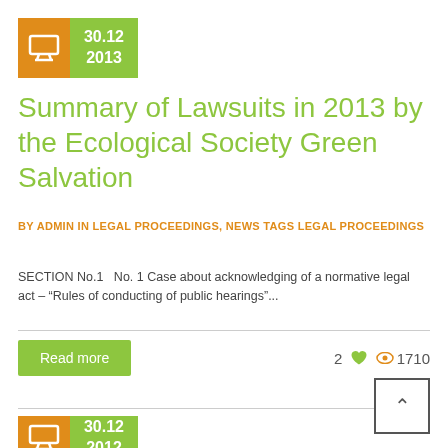[Figure (other): Date badge: orange icon square with monitor/screen icon, green date area showing 30.12 2013]
Summary of Lawsuits in 2013 by the Ecological Society Green Salvation
BY ADMIN IN LEGAL PROCEEDINGS, NEWS TAGS LEGAL PROCEEDINGS
SECTION No.1   No. 1 Case about acknowledging of a normative legal act – “Rules of conducting of public hearings”...
Read more   2 ♥ 👁 1710
[Figure (other): Date badge: orange icon square with monitor/screen icon, green date area showing 30.12 2012 (partially visible)]
[Figure (other): Back to top button: square with upward caret arrow]